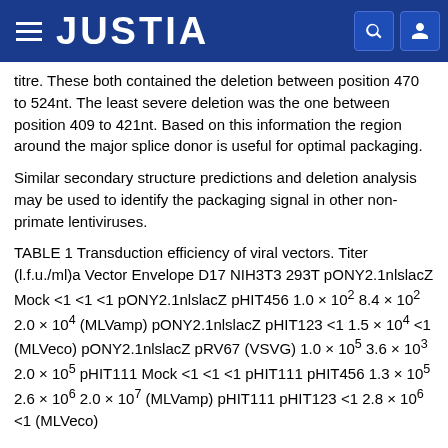JUSTIA
titre. These both contained the deletion between position 470 to 524nt. The least severe deletion was the one between position 409 to 421nt. Based on this information the region around the major splice donor is useful for optimal packaging.
Similar secondary structure predictions and deletion analysis may be used to identify the packaging signal in other non-primate lentiviruses.
TABLE 1 Transduction efficiency of viral vectors. Titer (l.f.u./ml)a Vector Envelope D17 NIH3T3 293T pONY2.1nlslacZ Mock <1 <1 <1 pONY2.1nlslacZ pHIT456 1.0 × 102 8.4 × 102 2.0 × 104 (MLVamp) pONY2.1nlslacZ pHIT123 <1 1.5 × 104 <1 (MLVeco) pONY2.1nlslacZ pRV67 (VSVG) 1.0 × 105 3.6 × 103 2.0 × 105 pHIT111 Mock <1 <1 <1 pHIT111 pHIT456 1.3 × 105 2.6 × 106 2.0 × 107 (MLVamp) pHIT111 pHIT123 <1 2.8 × 106 <1 (MLVeco)